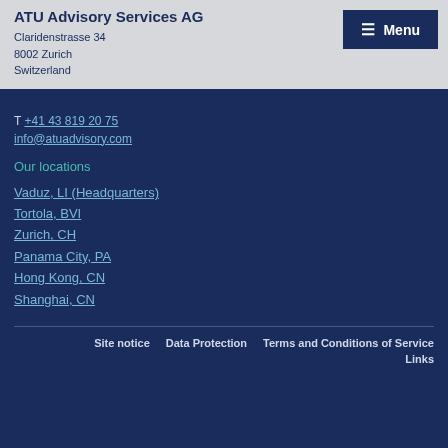ATU Advisory Services AG
Claridenstrasse 34
8002 Zurich
Switzerland
T +41 43 819 20 75
info@atuadvisory.com
Our locations
Vaduz, LI (Headquarters)
Tortola, BVI
Zurich, CH
Panama City, PA
Hong Kong, CN
Shanghai, CN
Site notice   Data Protection   Terms and Conditions of Service   Links